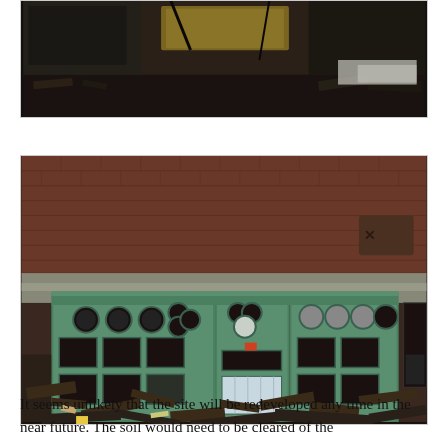[Figure (photo): Partial view of a ruined interior space with debris, damaged ceiling and walls, dark and dilapidated appearance — top portion of photo cropped.]
[Figure (photo): Interior of an abandoned industrial building featuring green corroded control panels or machinery with round porthole-style openings and rectangular windows, brick walls visible above, floor covered with rubble and debris.]
It seems unlikely that the site will be redeveloped any time in the near future. The soil would need to be cleared of the